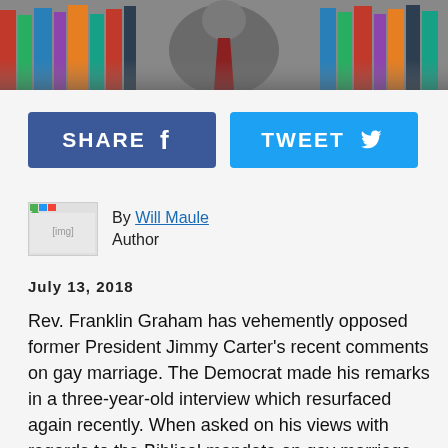[Figure (photo): Photo of a man in a suit with a red tie, standing in front of a bookshelf]
[Figure (infographic): Share button (Facebook, dark blue) and Tweet button (Twitter, light blue) social sharing buttons]
By Will Maule
Author
July 13, 2018
Rev. Franklin Graham has vehemently opposed former President Jimmy Carter's recent comments on gay marriage. The Democrat made his remarks in a three-year-old interview which resurfaced again recently. When asked on his views with regards to the Biblical mandate on gay marriage, Carter admitted that he "didn't have any verse in scripture," before stating: "I